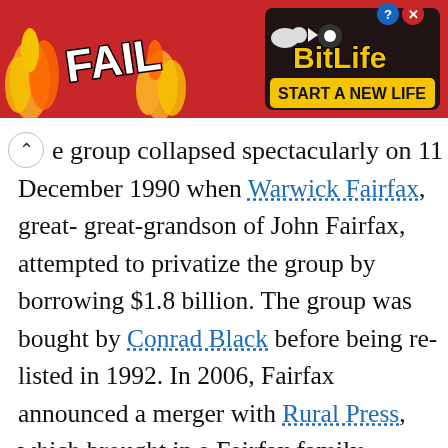[Figure (screenshot): Advertisement banner for BitLife game showing 'FAIL' text with cartoon character, flames, snail icon, and 'START A NEW LIFE' text on red background]
e group collapsed spectacularly on 11 December 1990 when Warwick Fairfax, great-great-grandson of John Fairfax, attempted to privatize the group by borrowing $1.8 billion. The group was bought by Conrad Black before being re-listed in 1992. In 2006, Fairfax announced a merger with Rural Press, which brought in a Fairfax family member, John B. Fairfax, as a significant player in the company